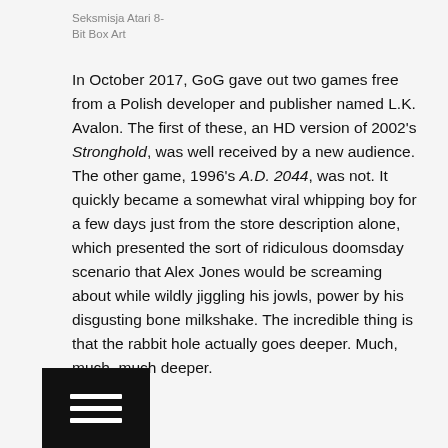Seksmisja Atari 8-Bit Box Art
In October 2017, GoG gave out two games free from a Polish developer and publisher named L.K. Avalon. The first of these, an HD version of 2002's Stronghold, was well received by a new audience. The other game, 1996's A.D. 2044, was not. It quickly became a somewhat viral whipping boy for a few days just from the store description alone, which presented the sort of ridiculous doomsday scenario that Alex Jones would be screaming about while wildly jiggling his jowls, power by his disgusting bone milkshake. The incredible thing is that the rabbit hole actually goes deeper. Much, much, much deeper.
[Figure (other): Black hamburger menu button icon at bottom left]